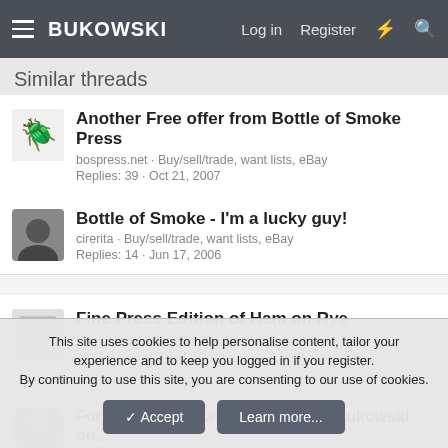BUKOWSKI · Log in · Register
Similar threads
Another Free offer from Bottle of Smoke Press
bospress.net · Buy/sell/trade, want lists, eBay
Replies: 39 · Oct 21, 2007
Bottle of Smoke - I'm a lucky guy!
cirerita · Buy/sell/trade, want lists, eBay
Replies: 14 · Jun 17, 2006
Fine Press Edition of Ham on Rye
Mrak Sarg · Buy/sell/trade, want lists, eBay
Replies: 7 · Aug 14, 2018
For Sale Photogravure of Charles Bukowski on...
This site uses cookies to help personalise content, tailor your experience and to keep you logged in if you register.
By continuing to use this site, you are consenting to our use of cookies.